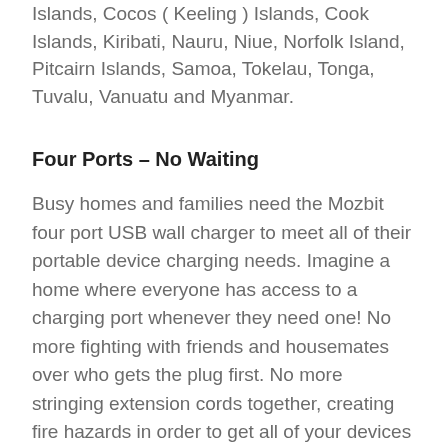Solomon Islands, Papua New Guinea, Christmas Islands, Cocos ( Keeling ) Islands, Cook Islands, Kiribati, Nauru, Niue, Norfolk Island, Pitcairn Islands, Samoa, Tokelau, Tonga, Tuvalu, Vanuatu and Myanmar.
Four Ports – No Waiting
Busy homes and families need the Mozbit four port USB wall charger to meet all of their portable device charging needs. Imagine a home where everyone has access to a charging port whenever they need one! No more fighting with friends and housemates over who gets the plug first. No more stringing extension cords together, creating fire hazards in order to get all of your devices charged. Our 4 port USB charging station works as well at the office as it does at home. Easy to transport, you can take our charging station with you anywhere you go.